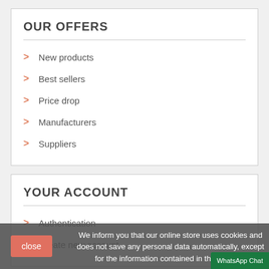OUR OFFERS
New products
Best sellers
Price drop
Manufacturers
Suppliers
YOUR ACCOUNT
Authentication
Create new account
We inform you that our online store uses cookies and does not save any personal data automatically, except for the information contained in the cookies.